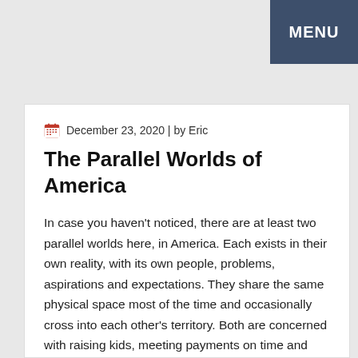MENU
December 23, 2020 | by Eric
The Parallel Worlds of America
In case you haven't noticed, there are at least two parallel worlds here, in America. Each exists in their own reality, with its own people, problems, aspirations and expectations. They share the same physical space most of the time and occasionally cross into each other's territory. Both are concerned with raising kids, meeting payments on time and health issues in today's turbulent world. They look at surrounding reality through two separate sets of glasses. These worlds mostly